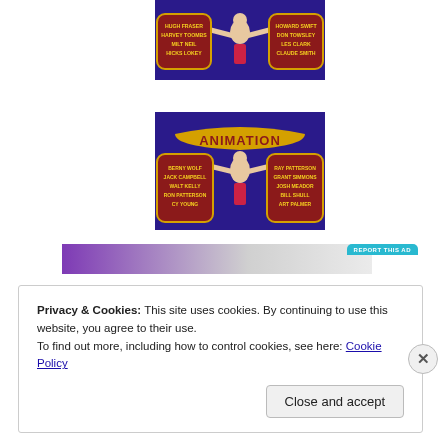[Figure (illustration): Vintage animation production credit card with blue background, showing a strongman figure in red trunks holding two decorative name plaques. Left plaque: HUGH FRASER, HARVEY TOOMBS, MILT NEIL, HICKS LOKEY. Right plaque: HOWARD SWIFT, DON TOWSLEY, LES CLARK, CLAUDE SMITH. Yellow ornate lettering on dark red banners.]
[Figure (illustration): Vintage animation production credit card with blue background, showing ANIMATION banner at top, strongman figure in red trunks. Left plaque: BERNY WOLF, JACK CAMPBELL, WALT KELLY, RON PATTERSON, CY YOUNG. Right plaque: RAY PATTERSON, GRANT SIMMONS, JOSH MEADOR, BILL SHULL, ART PALMER.]
REPORT THIS AD
Privacy & Cookies: This site uses cookies. By continuing to use this website, you agree to their use.
To find out more, including how to control cookies, see here: Cookie Policy
Close and accept